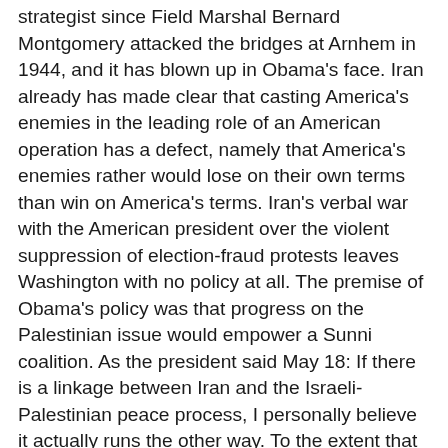strategist since Field Marshal Bernard Montgomery attacked the bridges at Arnhem in 1944, and it has blown up in Obama's face. Iran already has made clear that casting America's enemies in the leading role of an American operation has a defect, namely that America's enemies rather would lose on their own terms than win on America's terms. Iran's verbal war with the American president over the violent suppression of election-fraud protests leaves Washington with no policy at all. The premise of Obama's policy was that progress on the Palestinian issue would empower a Sunni coalition. As the president said May 18: If there is a linkage between Iran and the Israeli-Palestinian peace process, I personally believe it actually runs the other way. To the extent that we can make peace with the Palestinians - between the Palestinians and the Israelis, then I actually think it strengthens our hand in the international community in dealing with the potential Iranian threat.Israel's supporters remonstrated in vain. Harvard law professor Alan Dershowitz, a prominent Obama supporter, wrote, "If there is to be any linkage - and I do not believe there should be - it goes the other way: it will be much easier for Israel to end its occupation of the West Bank if Iran does not have a nuclear